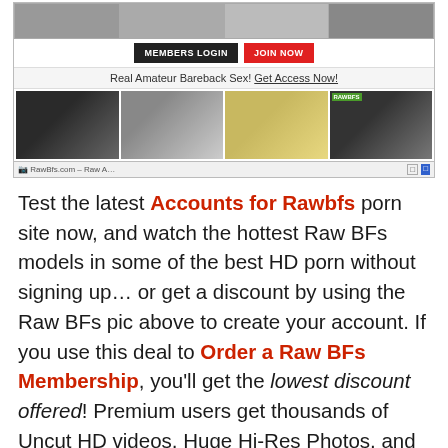[Figure (screenshot): Screenshot of Rawbfs adult website showing member login and join now buttons, tagline, and thumbnail images]
Test the latest Accounts for Rawbfs porn site now, and watch the hottest Raw BFs models in some of the best HD porn without signing up… or get a discount by using the Raw BFs pic above to create your account. If you use this deal to Order a Raw BFs Membership, you'll get the lowest discount offered! Premium users get thousands of Uncut HD videos, Huge Hi-Res Photos, and New Unreleased Updates. This Rawbfs promo is for a limited time – Don't miss out, it's worth it!